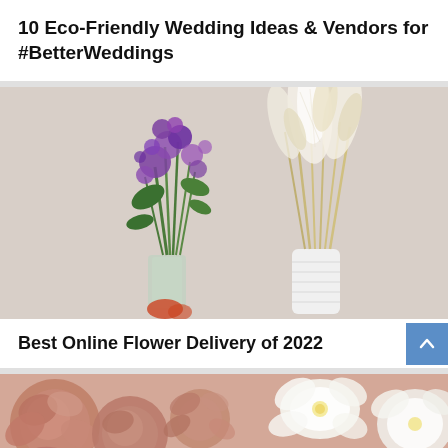10 Eco-Friendly Wedding Ideas & Vendors for #BetterWeddings
[Figure (photo): Two floral arrangements side by side: left is a glass vase with purple wildflowers and green foliage; right is a white ribbed vase with dried pampas grass and wheat stalks on a neutral background.]
Best Online Flower Delivery of 2022
[Figure (photo): Close-up of mixed flower bouquet featuring dusty pink/mauve roses and carnations alongside white orchids, cropped tightly to fill the frame.]